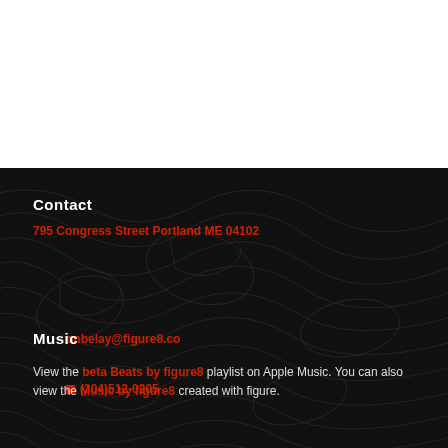Contact
795 Congress Street Portland ME 04102
onbelay@figure8.co
📱 (304)512-0205
Music
View the beta Beats by figure8 playlist on Apple Music. You can also view the Music by figure8 created with figure.